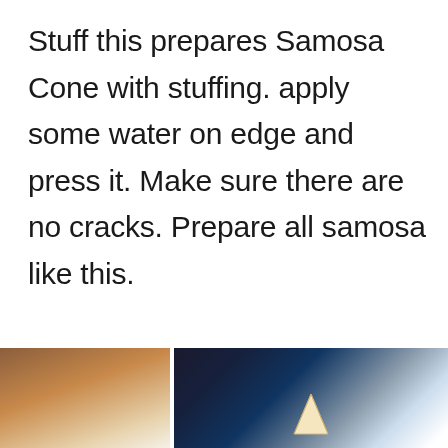Stuff this prepares Samosa Cone with stuffing. apply some water on edge and press it. Make sure there are no cracks. Prepare all samosa like this.
[Figure (photo): Two side-by-side photos at the bottom of the page. Left photo shows a brown bowl or plate with white powder/flour. Right photo shows a dark surface with a small triangular samosa cone visible.]